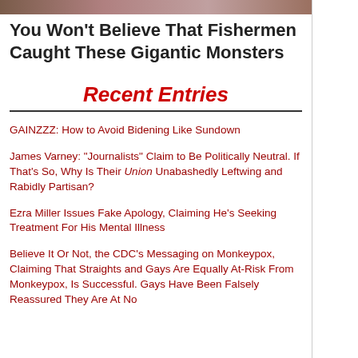[Figure (photo): Thumbnail image strip at top of sidebar]
You Won't Believe That Fishermen Caught These Gigantic Monsters
Recent Entries
GAINZZZ: How to Avoid Bidening Like Sundown
James Varney: "Journalists" Claim to Be Politically Neutral. If That's So, Why Is Their Union Unabashedly Leftwing and Rabidly Partisan?
Ezra Miller Issues Fake Apology, Claiming He's Seeking Treatment For His Mental Illness
Believe It Or Not, the CDC's Messaging on Monkeypox, Claiming That Straights and Gays Are Equally At-Risk From Monkeypox, Is Successful. Gays Have Been Falsely Reassured They Are At No...